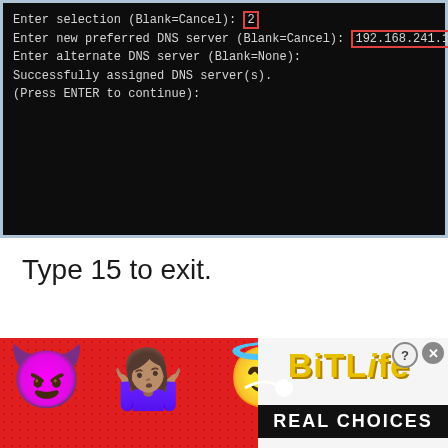[Figure (screenshot): Terminal/command-line screenshot on dark background showing DNS server configuration prompts. Text reads: 'Enter selection (Blank=Cancel): 2', 'Enter new preferred DNS server (Blank=Cancel): 192.168.241.106' (IP highlighted with red box), 'Enter alternate DNS server (Blank=None):', 'Successfully assigned DNS server(s).', '(Press ENTER to continue):']
Type 15 to exit.
[Figure (screenshot): Advertisement banner for BitLife mobile game with red dotted background, devil emoji, person shrugging emoji, angel emoji, sperm icon, yellow 'BitLife' logo text, and black 'REAL CHOICES' subtitle. Has close (X) and help (?) buttons.]